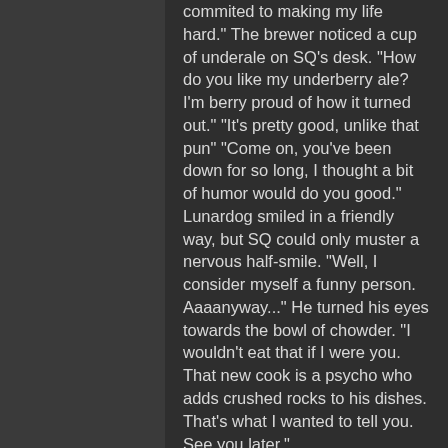commited to making my life hard." The brewer noticed a cup of underale on SQ's desk. "How do you like my underberry ale? I'm berry proud of how it turned out." "It's pretty good, unlike that pun" "Come on, you've been down for so long, I thought a bit of humor would do you good." Lunardog smiled in a friendly way, but SQ could only muster a nervous half-smile. "Well, I consider myself a funny person. Aaaanyway..." He turned his eyes towards the bowl of chowder. "I wouldn't eat that if I were you. That new cook is a psycho who adds crushed rocks to his dishes. That's what I wanted to tell you. See you later."
SQ looked into the bowl of chowder. She noticed some tiny black specks floating about. Was it the crushed stone Lunardog told her about? She didn't get to find out because when Lunardog left, a silver-haired man took his place. "Why is this settlement not producing gems? How am I supposed to garnish my